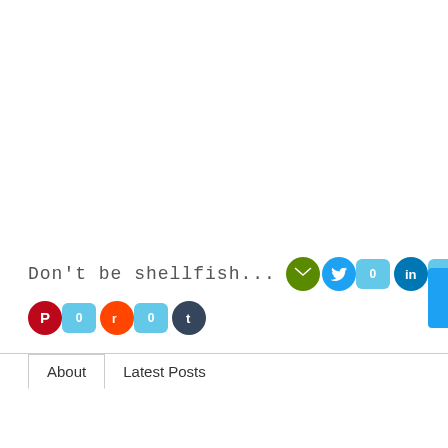Don't be shellfish...
[Figure (infographic): Social share buttons row 1: email (green), Twitter (blue, 0), LinkedIn (dark blue, 0), Facebook (dark blue, 0), Google+ (red, 0)]
[Figure (infographic): Social share buttons row 2: Pinterest (red, 0), Reddit (orange, 0), Tumblr (dark navy)]
About  Latest Posts